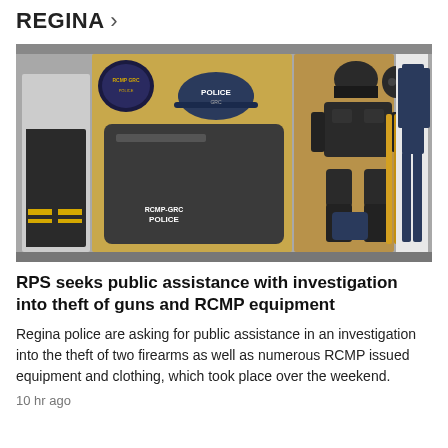REGINA >
[Figure (photo): Photo of stolen RCMP equipment laid out including: an RCMP/GRC Police badge patch, a navy blue RCMP Police cap, dark body armor and protective gear set, a gas mask, batons, a dark blue duffel bag labelled RCMP-GRC POLICE, black tactical pants with yellow stripes, and a navy blue coverall uniform.]
RPS seeks public assistance with investigation into theft of guns and RCMP equipment
Regina police are asking for public assistance in an investigation into the theft of two firearms as well as numerous RCMP issued equipment and clothing, which took place over the weekend.
10 hr ago